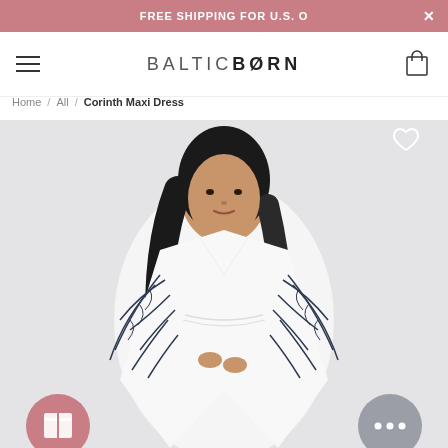FREE SHIPPING FOR U.S. O...
[Figure (logo): Baltic Born logo with hamburger menu and shopping cart icon in navigation bar]
Home / All / Corinth Maxi Dress
[Figure (photo): Woman wearing the Corinth Maxi Dress — a white maxi dress with navy palm leaf print and wide kimono-style sleeves, modeled against a light gray background. A heart/wishlist icon appears in the top-right corner. A pink gift button and gray chat button appear at the bottom corners.]